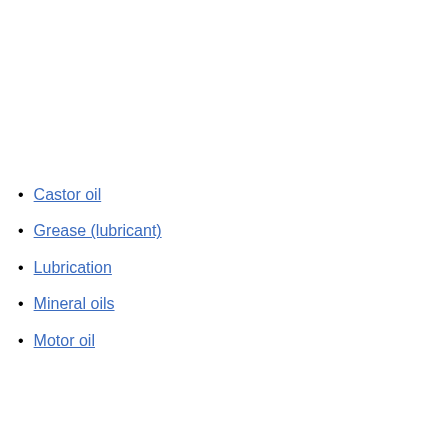Castor oil
Grease (lubricant)
Lubrication
Mineral oils
Motor oil